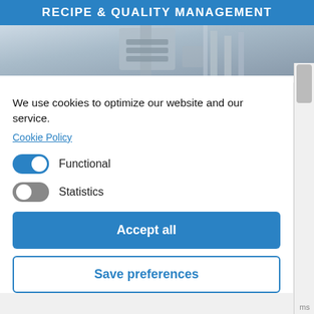RECIPE & QUALITY MANAGEMENT
[Figure (photo): Industrial/laboratory equipment photo, steel machinery, light blue-grey tones]
We use cookies to optimize our website and our service.
Cookie Policy
Functional
Statistics
Accept all
Save preferences